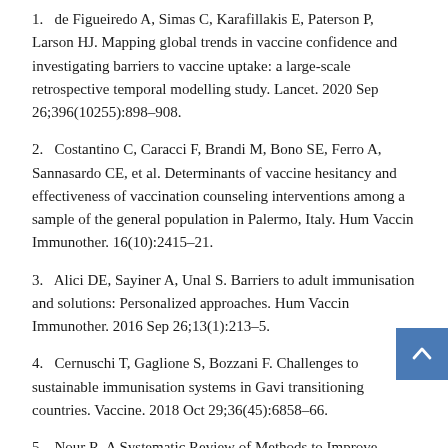1. de Figueiredo A, Simas C, Karafillakis E, Paterson P, Larson HJ. Mapping global trends in vaccine confidence and investigating barriers to vaccine uptake: a large-scale retrospective temporal modelling study. Lancet. 2020 Sep 26;396(10255):898–908.
2. Costantino C, Caracci F, Brandi M, Bono SE, Ferro A, Sannasardo CE, et al. Determinants of vaccine hesitancy and effectiveness of vaccination counseling interventions among a sample of the general population in Palermo, Italy. Hum Vaccin Immunother. 16(10):2415–21.
3. Alici DE, Sayiner A, Unal S. Barriers to adult immunisation and solutions: Personalized approaches. Hum Vaccin Immunother. 2016 Sep 26;13(1):213–5.
4. Cernuschi T, Gaglione S, Bozzani F. Challenges to sustainable immunisation systems in Gavi transitioning countries. Vaccine. 2018 Oct 29;36(45):6858–66.
5. Nour R. A Systematic Review of Methods to Improve Attitudes Towards Childhood Vaccinations. Cureus [Internet]. [cited 2021 Apr 9];11(7). Available from: